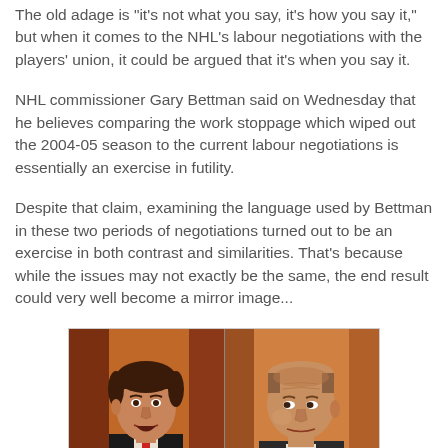The old adage is "it's not what you say, it's how you say it," but when it comes to the NHL's labour negotiations with the players' union, it could be argued that it's when you say it.
NHL commissioner Gary Bettman said on Wednesday that he believes comparing the work stoppage which wiped out the 2004-05 season to the current labour negotiations is essentially an exercise in futility.
Despite that claim, examining the language used by Bettman in these two periods of negotiations turned out to be an exercise in both contrast and similarities. That's because while the issues may not exactly be the same, the end result could very well become a mirror image...
[Figure (photo): Side-by-side photos of two men, likely NHL figures involved in labour negotiations, one on the left wearing a suit and speaking, one on the right with a balding head looking sideways.]